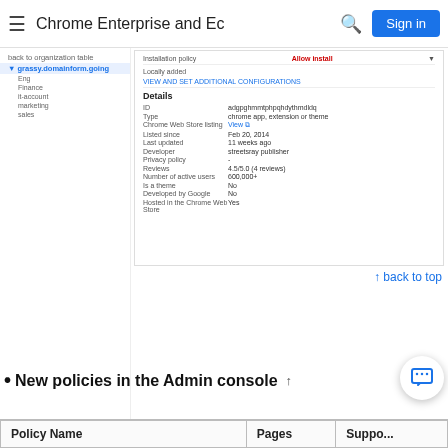Chrome Enterprise and Ec
[Figure (screenshot): Screenshot of Chrome Enterprise admin console showing app details panel with fields: ID, Type, Chrome Web Store listing, Listed since (Feb 20, 2014), Last updated (11 weeks ago), Developer, Privacy policy, Reviews (4.5/5.0 (4 reviews)), Number of active users (600,000+), Is a theme (No), Developed by Google (No), Hosted in the Chrome Web Store (Yes). Left sidebar shows navigation including grassy.domain.com hierarchy.]
↑ back to top
New policies in the Admin console
| Policy Name | Pages | Suppo... |
| --- | --- | --- |